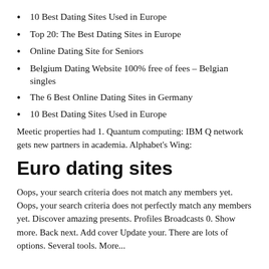10 Best Dating Sites Used in Europe
Top 20: The Best Dating Sites in Europe
Online Dating Site for Seniors
Belgium Dating Website 100% free of fees – Belgian singles
The 6 Best Online Dating Sites in Germany
10 Best Dating Sites Used in Europe
Meetic properties had 1. Quantum computing: IBM Q network gets new partners in academia. Alphabet's Wing:
Euro dating sites
Oops, your search criteria does not match any members yet. Oops, your search criteria does not perfectly match any members yet. Discover amazing presents. Profiles Broadcasts 0. Show more. Back next. Add cover Update your. There are lots of options. Several tools. More...